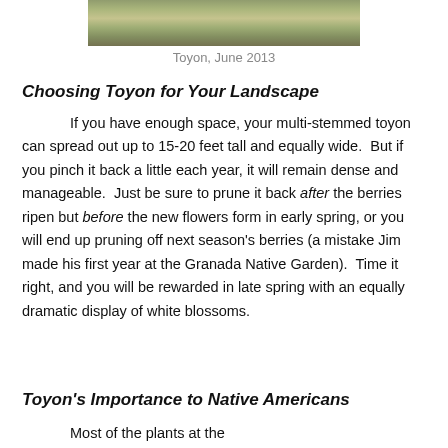[Figure (photo): Photo of Toyon plant with white blossoms, June 2013]
Toyon, June 2013
Choosing Toyon for Your Landscape
If you have enough space, your multi-stemmed toyon can spread out up to 15-20 feet tall and equally wide. But if you pinch it back a little each year, it will remain dense and manageable. Just be sure to prune it back after the berries ripen but before the new flowers form in early spring, or you will end up pruning off next season's berries (a mistake Jim made his first year at the Granada Native Garden). Time it right, and you will be rewarded in late spring with an equally dramatic display of white blossoms.
Toyon's Importance to Native Americans
Most of the plants at the